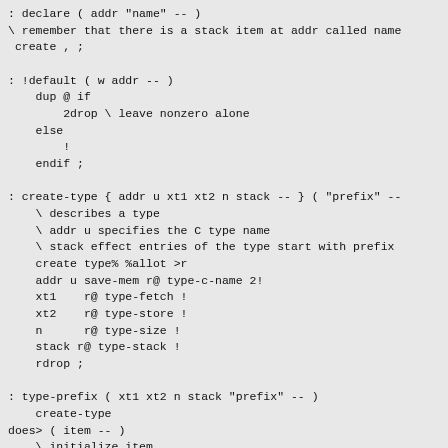: declare ( addr "name" -- )
\ remember that there is a stack item at addr called name
 create , ;

: !default ( w addr -- )
    dup @ if
        2drop \ leave nonzero alone
    else
        !
    endif ;

: create-type { addr u xt1 xt2 n stack -- } ( "prefix" --
    \ describes a type
    \ addr u specifies the C type name
    \ stack effect entries of the type start with prefix
    create type% %allot >r
    addr u save-mem r@ type-c-name 2!
    xt1    r@ type-fetch !
    xt2    r@ type-store !
    n      r@ type-size !
    stack r@ type-stack !
    rdrop ;

: type-prefix ( xt1 xt2 n stack "prefix" -- )
    create-type
does> ( item -- )
    \ initialize item
    { item typ }
    typ item item-type !
    typ type-stack @ item item-stack !default